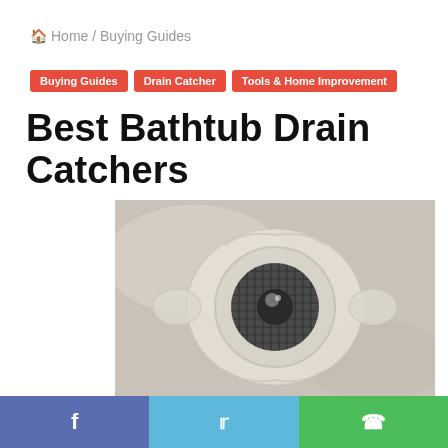🏠 Home / Buying Guides
Buying Guides
Drain Catcher
Tools & Home Improvement
Best Bathtub Drain Catchers
[Figure (photo): A translucent silicone bathtub drain catcher placed over a metal mesh drain in a white bathtub. The catcher is circular with wavy side tabs and a mesh center opening visible.]
f  |  🐦  |  ⊕